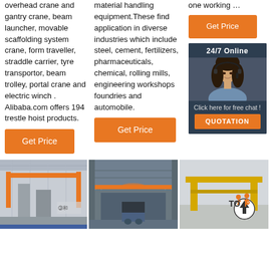overhead crane and gantry crane, beam launcher, movable scaffolding system crane, form traveller, straddle carrier, tyre transportor, beam trolley, portal crane and electric winch . Alibaba.com offers 194 trestle hoist products.
Get Price
material handling equipment.These find application in diverse industries which include steel, cement, fertilizers, pharmaceuticals, chemical, rolling mills, engineering workshops foundries and automobile.
Get Price
one working ...
Get Price
24/7 Online
Click here for free chat !
QUOTATION
[Figure (photo): Interior of industrial facility with orange overhead crane]
[Figure (photo): Interior of large warehouse/factory with overhead crane structure]
[Figure (photo): Yellow gantry crane outdoors with TOP navigation icon overlay]